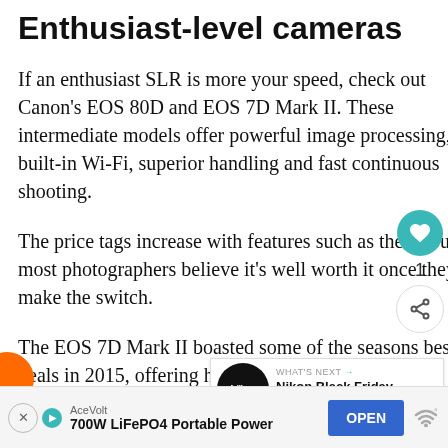Enthusiast-level cameras
If an enthusiast SLR is more your speed, check out Canon's EOS 80D and EOS 7D Mark II. These intermediate models offer powerful image processing, built-in Wi-Fi, superior handling and fast continuous shooting.
The price tags increase with features such as these, but most photographers believe it's well worth it once they make the switch.
The EOS 7D Mark II boasted some of the seasons best deals in 2015, offering hundreds of dollars in instant savings along wi... PRO-100 printers. The EOS 80D is ne... year, so look for price reductions to be rather